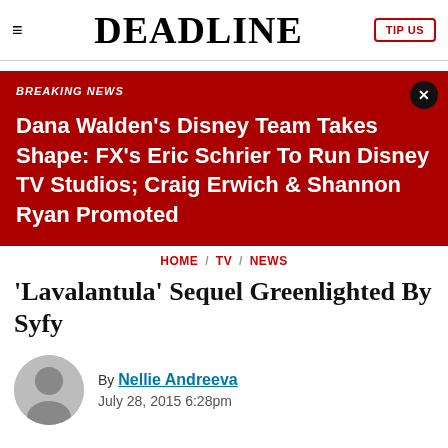≡  DEADLINE  TIP US
BREAKING NEWS
Dana Walden's Disney Team Takes Shape: FX's Eric Schrier To Run Disney TV Studios; Craig Erwich & Shannon Ryan Promoted
HOME / TV / NEWS
'Lavalantula' Sequel Greenlighted By Syfy
By Nellie Andreeva  July 28, 2015 6:28pm